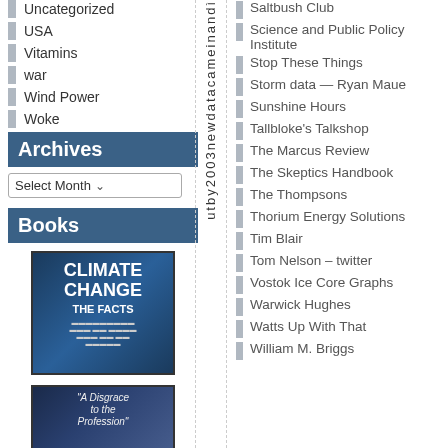Uncategorized
USA
Vitamins
war
Wind Power
Woke
Archives
Select Month
Books
[Figure (photo): Book cover: Climate Change The Facts]
[Figure (photo): Book cover: A Disgrace to the Profession]
Saltbush Club
Science and Public Policy Institute
Stop These Things
Storm data — Ryan Maue
Sunshine Hours
Tallbloke's Talkshop
The Marcus Review
The Skeptics Handbook
The Thompsons
Thorium Energy Solutions
Tim Blair
Tom Nelson – twitter
Vostok Ice Core Graphs
Warwick Hughes
Watts Up With That
William M. Briggs